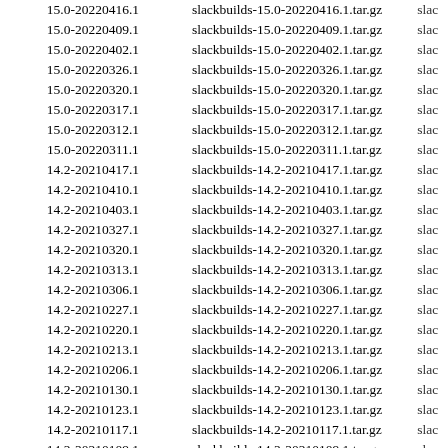| Version | Filename | ... |
| --- | --- | --- |
| 15.0-20220416.1 | slackbuilds-15.0-20220416.1.tar.gz | slac |
| 15.0-20220409.1 | slackbuilds-15.0-20220409.1.tar.gz | slac |
| 15.0-20220402.1 | slackbuilds-15.0-20220402.1.tar.gz | slac |
| 15.0-20220326.1 | slackbuilds-15.0-20220326.1.tar.gz | slac |
| 15.0-20220320.1 | slackbuilds-15.0-20220320.1.tar.gz | slac |
| 15.0-20220317.1 | slackbuilds-15.0-20220317.1.tar.gz | slac |
| 15.0-20220312.1 | slackbuilds-15.0-20220312.1.tar.gz | slac |
| 15.0-20220311.1 | slackbuilds-15.0-20220311.1.tar.gz | slac |
| 14.2-20210417.1 | slackbuilds-14.2-20210417.1.tar.gz | slac |
| 14.2-20210410.1 | slackbuilds-14.2-20210410.1.tar.gz | slac |
| 14.2-20210403.1 | slackbuilds-14.2-20210403.1.tar.gz | slac |
| 14.2-20210327.1 | slackbuilds-14.2-20210327.1.tar.gz | slac |
| 14.2-20210320.1 | slackbuilds-14.2-20210320.1.tar.gz | slac |
| 14.2-20210313.1 | slackbuilds-14.2-20210313.1.tar.gz | slac |
| 14.2-20210306.1 | slackbuilds-14.2-20210306.1.tar.gz | slac |
| 14.2-20210227.1 | slackbuilds-14.2-20210227.1.tar.gz | slac |
| 14.2-20210220.1 | slackbuilds-14.2-20210220.1.tar.gz | slac |
| 14.2-20210213.1 | slackbuilds-14.2-20210213.1.tar.gz | slac |
| 14.2-20210206.1 | slackbuilds-14.2-20210206.1.tar.gz | slac |
| 14.2-20210130.1 | slackbuilds-14.2-20210130.1.tar.gz | slac |
| 14.2-20210123.1 | slackbuilds-14.2-20210123.1.tar.gz | slac |
| 14.2-20210117.1 | slackbuilds-14.2-20210117.1.tar.gz | slac |
| 14.2-20210109.1 | slackbuilds-14.2-20210109.1.tar.gz | slac |
| 14.2-20210102.1 | slackbuilds-14.2-20210102.1.tar.gz | slac |